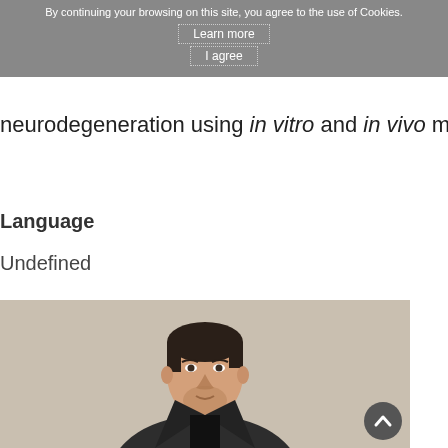By continuing your browsing on this site, you agree to the use of Cookies. Learn more I agree
neurodegeneration using in vitro and in vivo models.
Language
Undefined
[Figure (photo): Portrait photo of a young man with short dark hair and a beard, wearing a dark knit blazer over a black shirt, photographed against a light beige/cream wall background.]